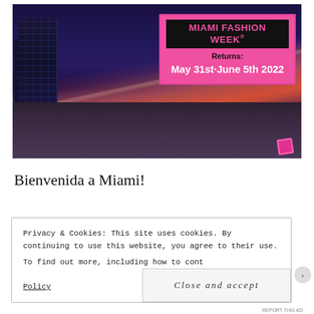[Figure (photo): Nighttime city highway photo with light trails from car headlights and taillights. High-rise buildings visible on the left under a dark purple-blue sky. A large pink billboard overlaid on the right side of the image reads 'MIAMI FASHION WEEK Returns: May 31st-June 5th 2022'.]
Bienvenida a Miami!
Privacy & Cookies: This site uses cookies. By continuing to use this website, you agree to their use. To find out more, including how to control cookies, see here: Cookie Policy